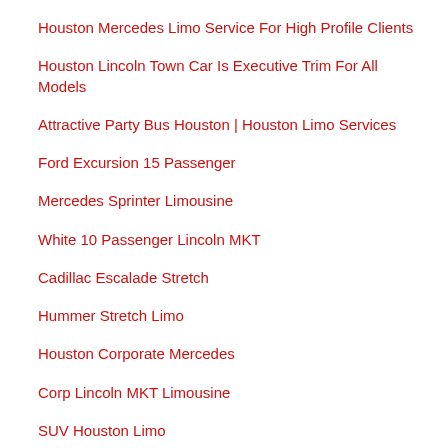Houston Mercedes Limo Service For High Profile Clients
Houston Lincoln Town Car Is Executive Trim For All Models
Attractive Party Bus Houston | Houston Limo Services
Ford Excursion 15 Passenger
Mercedes Sprinter Limousine
White 10 Passenger Lincoln MKT
Cadillac Escalade Stretch
Hummer Stretch Limo
Houston Corporate Mercedes
Corp Lincoln MKT Limousine
SUV Houston Limo